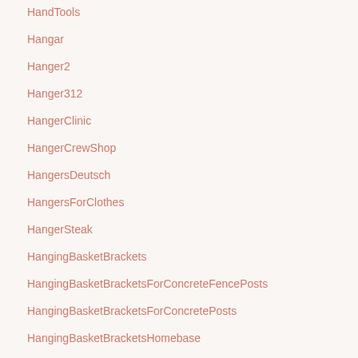HandTools
Hangar
Hanger2
Hanger312
HangerClinic
HangerCrewShop
HangersDeutsch
HangersForClothes
HangerSteak
HangingBasketBrackets
HangingBasketBracketsForConcreteFencePosts
HangingBasketBracketsForConcretePosts
HangingBasketBracketsHomebase
HangingBasketBracketsWhite